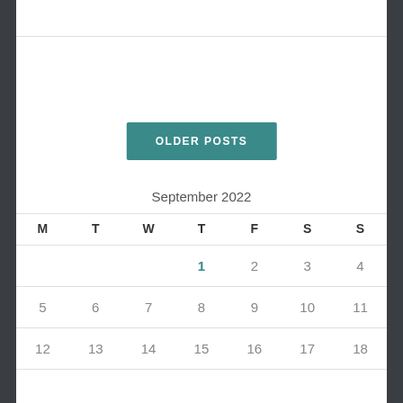OLDER POSTS
| M | T | W | T | F | S | S |
| --- | --- | --- | --- | --- | --- | --- |
|  |  |  | 1 | 2 | 3 | 4 |
| 5 | 6 | 7 | 8 | 9 | 10 | 11 |
| 12 | 13 | 14 | 15 | 16 | 17 | 18 |
|  |  |  |  |  |  |  |